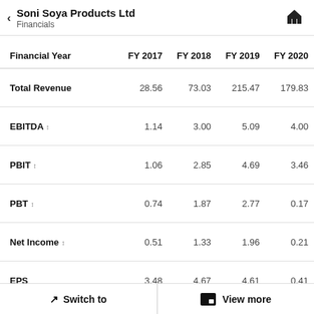Soni Soya Products Ltd — Financials
| Financial Year | FY 2017 | FY 2018 | FY 2019 | FY 2020 |
| --- | --- | --- | --- | --- |
| Total Revenue | 28.56 | 73.03 | 215.47 | 179.83 |
| EBITDA ↕ | 1.14 | 3.00 | 5.09 | 4.00 |
| PBIT ↕ | 1.06 | 2.85 | 4.69 | 3.46 |
| PBT ↕ | 0.74 | 1.87 | 2.77 | 0.17 |
| Net Income ↕ | 0.51 | 1.33 | 1.96 | 0.21 |
| EPS | 3.48 | 4.67 | 4.61 | 0.41 |
↗ Switch to | View more